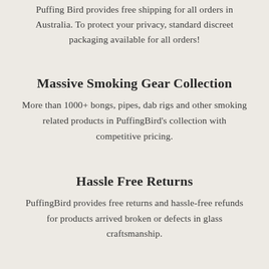Puffing Bird provides free shipping for all orders in Australia. To protect your privacy, standard discreet packaging available for all orders!
Massive Smoking Gear Collection
More than 1000+ bongs, pipes, dab rigs and other smoking related products in PuffingBird's collection with competitive pricing.
Hassle Free Returns
PuffingBird provides free returns and hassle-free refunds for products arrived broken or defects in glass craftsmanship.